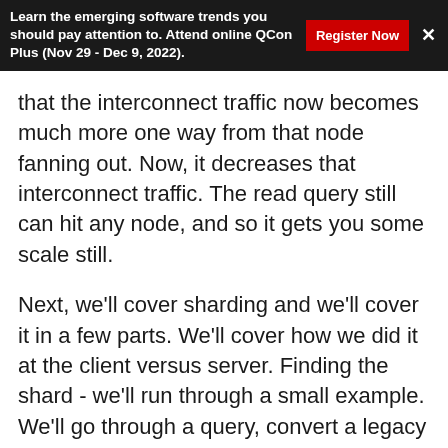Learn the emerging software trends you should pay attention to. Attend online QCon Plus (Nov 29 - Dec 9, 2022).
that the interconnect traffic now becomes much more one way from that node fanning out. Now, it decreases that interconnect traffic. The read query still can hit any node, and so it gets you some scale still.
Next, we'll cover sharding and we'll cover it in a few parts. We'll cover how we did it at the client versus server. Finding the shard - we'll run through a small example. We'll go through a query, convert a legacy app which PayPal has a lot of, and then we'll move and actually see how we operationally move a scuttle bin piece of data over.
Client versus server - PayPal started off as a C++ shop. We could have embedded all the logic for